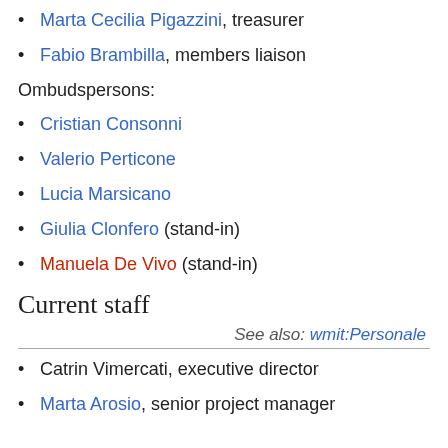Marta Cecilia Pigazzini, treasurer
Fabio Brambilla, members liaison
Ombudspersons:
Cristian Consonni
Valerio Perticone
Lucia Marsicano
Giulia Clonfero (stand-in)
Manuela De Vivo (stand-in)
Current staff
See also: wmit:Personale
Catrin Vimercati, executive director
Marta Arosio, senior project manager